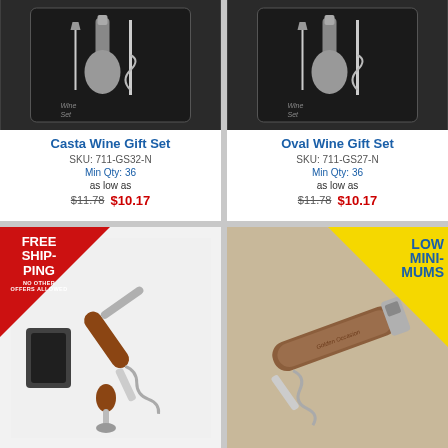[Figure (photo): Casta Wine Gift Set product photo on dark background with box packaging]
Casta Wine Gift Set
SKU: 711-GS32-N
Min Qty: 36
as low as
$11.78  $10.17
[Figure (photo): Oval Wine Gift Set product photo on dark background with box packaging]
Oval Wine Gift Set
SKU: 711-GS27-N
Min Qty: 36
as low as
$11.78  $10.17
[Figure (photo): Corkscrew wine opener set with wooden handle and accessories, Free Shipping badge in red triangle top-left corner]
[Figure (photo): Wooden handle corkscrew bottle opener multi-tool with Low Minimums badge in yellow triangle top-right corner]